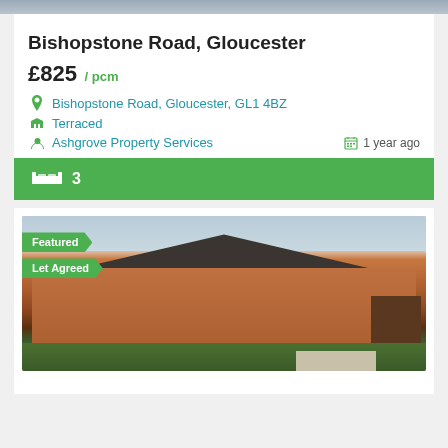[Figure (photo): Top portion of a property exterior photo, cropped]
Bishopstone Road, Gloucester
£825 / pcm
Bishopstone Road, Gloucester, GL1 4BZ
Terraced
Ashgrove Property Services    1 year ago
3 (bedrooms)
[Figure (photo): Exterior photo of a brick terraced house with Featured and Let Agreed badges]